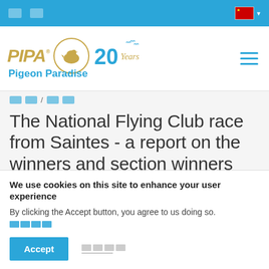[nav links] [flag dropdown]
[Figure (logo): PIPA Pigeon Paradise logo with pigeon circle illustration and '20 Years' text, plus hamburger menu icon]
[breadcrumb navigation links]
The National Flying Club race from Saintes - a report on the winners and section winners
We use cookies on this site to enhance your user experience
By clicking the Accept button, you agree to us doing so. [more info link]
Accept  [decline option]